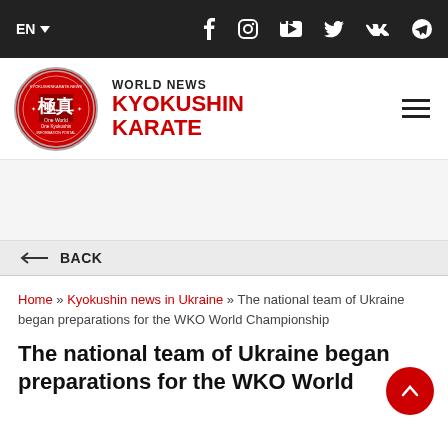EN | social icons: Facebook, Instagram, YouTube, Twitter, VK, Telegram
[Figure (logo): Kyokushin Karate News circular logo — red circle with Japanese kanji and text 'One World One Kyokushin Information Portal']
WORLD NEWS KYOKUSHIN KARATE
← BACK
Home » Kyokushin news in Ukraine » The national team of Ukraine began preparations for the WKO World Championship
The national team of Ukraine began preparations for the WKO World